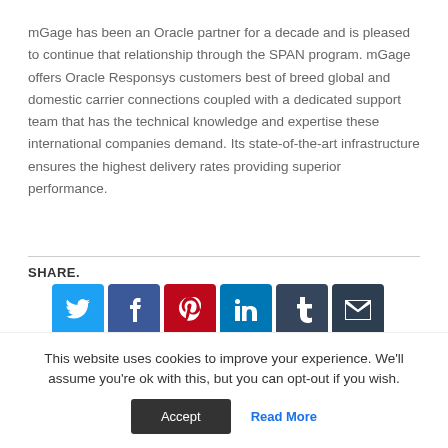mGage has been an Oracle partner for a decade and is pleased to continue that relationship through the SPAN program. mGage offers Oracle Responsys customers best of breed global and domestic carrier connections coupled with a dedicated support team that has the technical knowledge and expertise these international companies demand. Its state-of-the-art infrastructure ensures the highest delivery rates providing superior performance.
SHARE.
[Figure (infographic): Row of social media share icon buttons: Twitter (blue), Facebook (dark blue), Pinterest (red), LinkedIn (blue), Tumblr (dark), Email (dark)]
This website uses cookies to improve your experience. We'll assume you're ok with this, but you can opt-out if you wish.
Accept | Read More